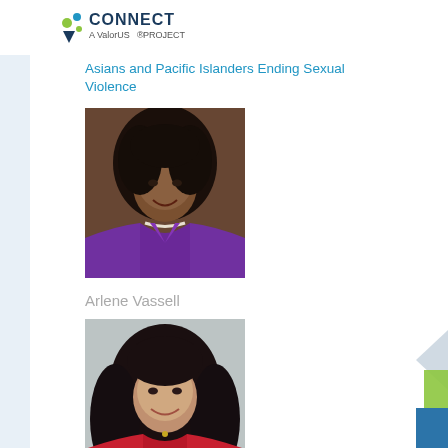A ValorUS PROJECT
Asians and Pacific Islanders Ending Sexual Violence
[Figure (photo): Portrait photo of a woman with curly black hair wearing a purple jacket and pearl necklace, smiling]
Arlene Vassell
[Figure (photo): Portrait photo of a woman with long dark wavy hair wearing a red top, smiling]